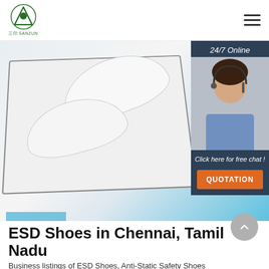SANZUN logo and hamburger menu
[Figure (photo): White ESD anti-static shoe insoles/mats on a flat surface with blue accent in background]
[Figure (infographic): 24/7 Online chat widget with customer service representative photo, 'Click here for free chat!' text, and orange QUOTATION button]
ESD Shoes in Chennai, Tamil Nadu
Business listings of ESD Shoes, Anti-Static Safety Shoes manufacturers, suppliers and exporters in Chennai, Tamil Nadu